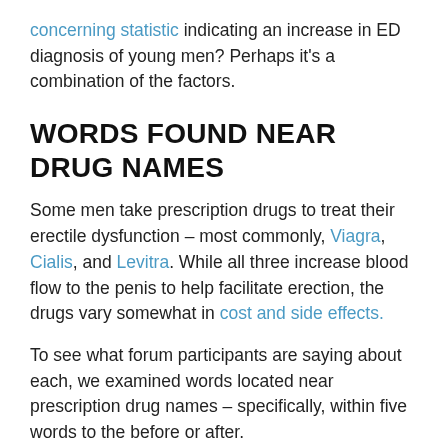concerning statistic indicating an increase in ED diagnosis of young men? Perhaps it’s a combination of the factors.
WORDS FOUND NEAR DRUG NAMES
Some men take prescription drugs to treat their erectile dysfunction – most commonly, Viagra, Cialis, and Levitra. While all three increase blood flow to the penis to help facilitate erection, the drugs vary somewhat in cost and side effects.
To see what forum participants are saying about each, we examined words located near prescription drug names – specifically, within five words to the before or after.